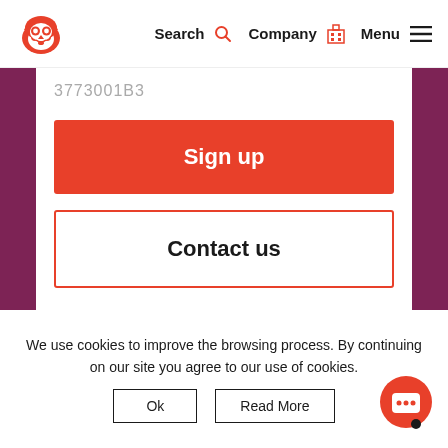[Figure (logo): Owler owl logo in red]
Search  Company  Menu
3773001B3
Sign up
Contact us
We use cookies to improve the browsing process. By continuing on our site you agree to our use of cookies.
Ok
Read More
[Figure (illustration): Red circular chat/support button with smile icon]